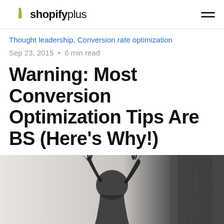shopify plus
Thought leadership, Conversion rate optimization
Sep 23, 2015  •  6 min read
Warning: Most Conversion Optimization Tips Are BS (Here's Why!)
by Tommy Walker
[Figure (photo): Black and white photo of a person gesturing with raised hands, partially cropped at the bottom of the page]